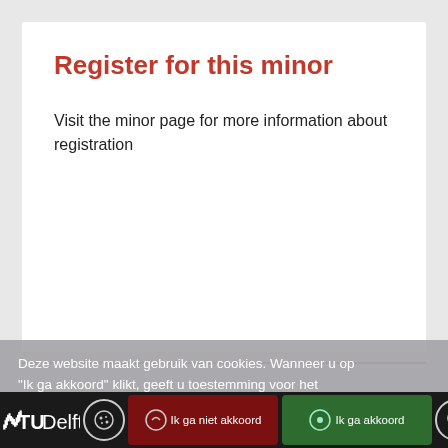Register for this minor
Visit the minor page for more information about registration
Contact
Student stories and contact details
Deze website maakt gebruik van cookies. Wanneer u op "Ik ga akkoord" klikt, geeft u toestemming voor het gebruik van cookies. Wat zijn cookies?
TU Delft | Ik ga niet akkoord | Ik ga akkoord